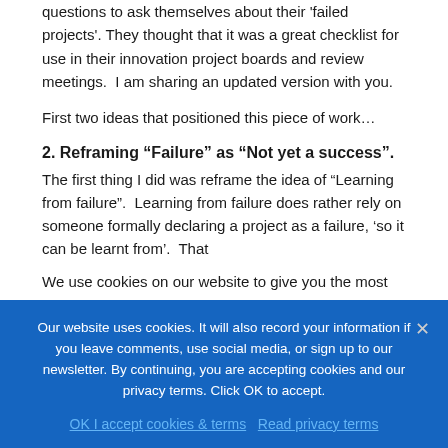questions to ask themselves about their 'failed projects'. They thought that it was a great checklist for use in their innovation project boards and review meetings.  I am sharing an updated version with you.
First two ideas that positioned this piece of work…
2. Reframing “Failure” as “Not yet a success”.
The first thing I did was reframe the idea of “Learning from failure”.  Learning from failure does rather rely on someone formally declaring a project as a failure, ‘so it can be learnt from’.  That
We use cookies on our website to give you the most
Our website uses cookies. It will also record your information if you leave comments, use social media, or sign up to our newsletter. By continuing, you are accepting cookies and our privacy terms. Click OK to accept.
OK I accept cookies & terms   Read privacy terms